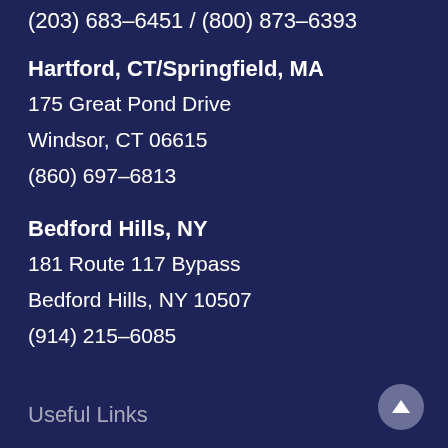(203) 683-6451 / (800) 873-6393
Hartford, CT/Springfield, MA
175 Great Pond Drive
Windsor, CT 06615
(860) 697-6813
Bedford Hills, NY
181 Route 117 Bypass
Bedford Hills, NY 10507
(914) 215-6085
Useful Links